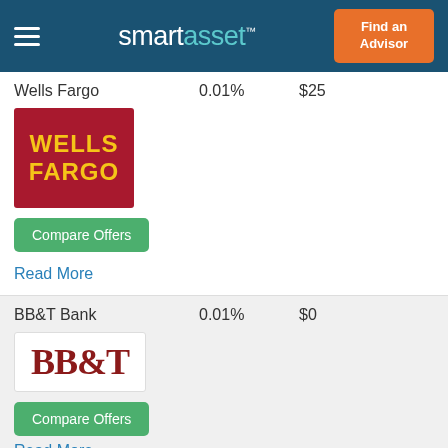smartasset™  Find an Advisor
Wells Fargo  0.01%  $25
[Figure (logo): Wells Fargo logo — red square with yellow bold text WELLS FARGO]
Compare Offers
Read More
BB&T Bank  0.01%  $0
[Figure (logo): BB&T logo — dark red serif bold text BB&T on white background]
Compare Offers
Read More
CIT Bank  0.85%  $100
[Figure (logo): CIT Bank logo — partially visible at bottom of page]